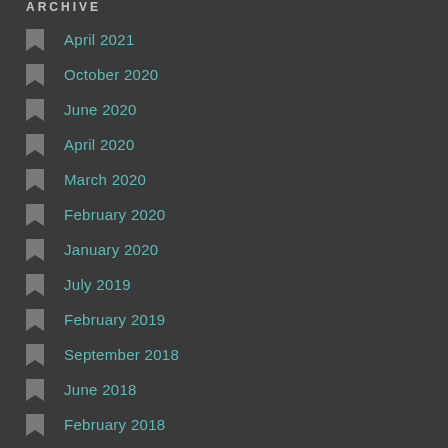ARCHIVE
April 2021
October 2020
June 2020
April 2020
March 2020
February 2020
January 2020
July 2019
February 2019
September 2018
June 2018
February 2018